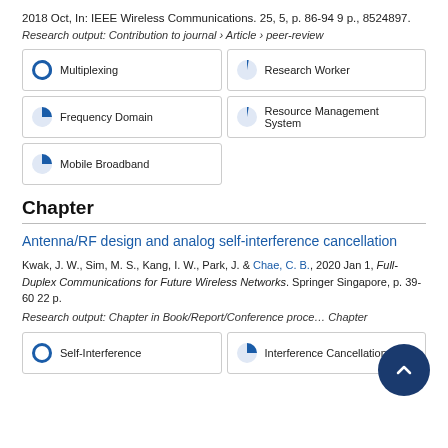2018 Oct, In: IEEE Wireless Communications. 25, 5, p. 86-94 9 p., 8524897.
Research output: Contribution to journal › Article › peer-review
Multiplexing (100%), Research Worker (14%), Frequency Domain (22%), Resource Management System (14%), Mobile Broadband (22%)
Chapter
Antenna/RF design and analog self-interference cancellation
Kwak, J. W., Sim, M. S., Kang, I. W., Park, J. & Chae, C. B., 2020 Jan 1, Full-Duplex Communications for Future Wireless Networks. Springer Singapore, p. 39-60 22 p.
Research output: Chapter in Book/Report/Conference proceedings › Chapter
Self-Interference (100%), Interference Cancellation (50%)